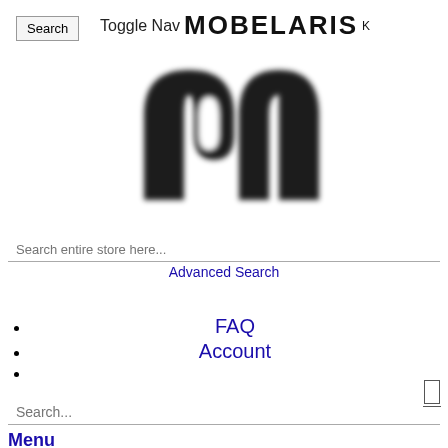Search (button)
Toggle Nav MOBELARIS
[Figure (logo): Mobelaris logo — large stylized letter M in black with soft blur effect]
Search entire store here...
Advanced Search (link)
Sign in (link)
FAQ (link)
Account (link)
(empty bullet)
Search... (input placeholder)
Menu (link, partially visible)